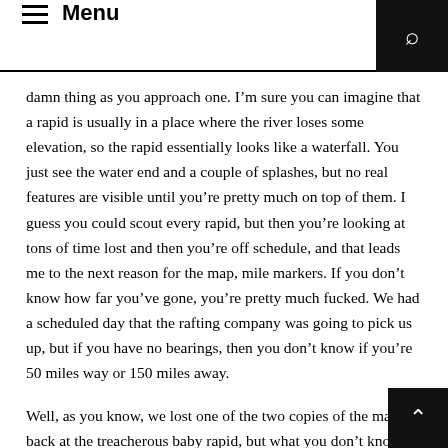Menu
damn thing as you approach one. I’m sure you can imagine that a rapid is usually in a place where the river loses some elevation, so the rapid essentially looks like a waterfall. You just see the water end and a couple of splashes, but no real features are visible until you’re pretty much on top of them. I guess you could scout every rapid, but then you’re looking at tons of time lost and then you’re off schedule, and that leads me to the next reason for the map, mile markers. If you don’t know how far you’ve gone, you’re pretty much fucked. We had a scheduled day that the rafting company was going to pick us up, but if you have no bearings, then you don’t know if you’re 50 miles way or 150 miles away.
Well, as you know, we lost one of the two copies of the map back at the treacherous baby rapid, but what you don’t know is that days later I tried to toss the map to Ben in the other boat when he